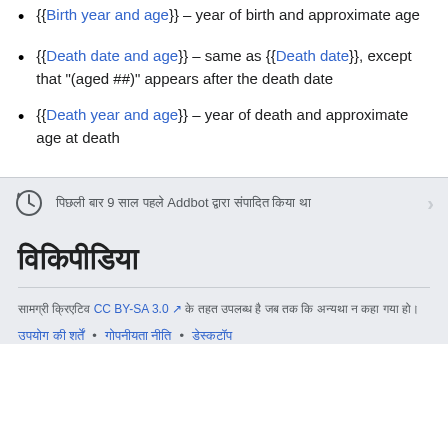{{Birth year and age}} – year of birth and approximate age
{{Death date and age}} – same as {{Death date}}, except that "(aged ##)" appears after the death date
{{Death year and age}} – year of death and approximate age at death
पिछली बार 9 साल पहले Addbot द्वारा संपादित किया था
विकिपीडिया
सामग्री क्रिएटिव CC BY-SA 3.0 के तहत उपलब्ध है जब तक कि अन्यथा न कहा गया हो। उपयोग की शर्तें • गोपनीयता नीति • डेस्कटॉप